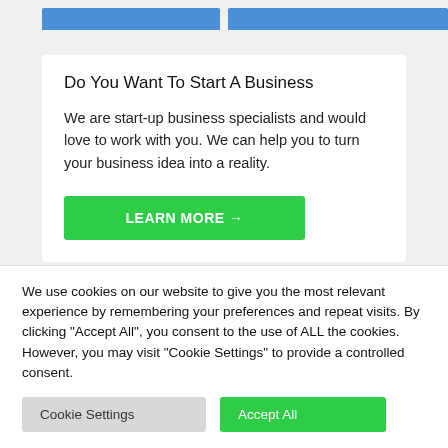[Figure (other): Top navigation bar with two blue tab buttons and a green top stripe]
Do You Want To Start A Business
We are start-up business specialists and would love to work with you. We can help you to turn your business idea into a reality.
LEARN MORE →
We use cookies on our website to give you the most relevant experience by remembering your preferences and repeat visits. By clicking "Accept All", you consent to the use of ALL the cookies. However, you may visit "Cookie Settings" to provide a controlled consent.
Cookie Settings
Accept All